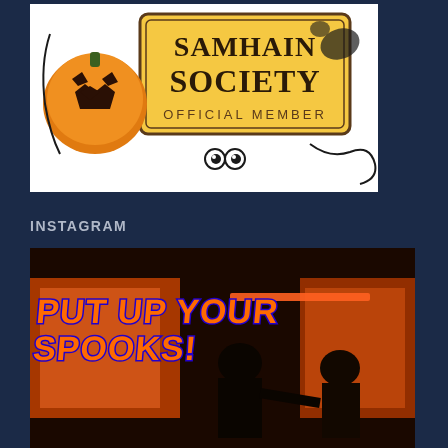[Figure (illustration): Samhain Society Official Member badge/logo with Halloween imagery including a jack-o-lantern, black cat-like creatures, and decorative text on a yellow/gold sign with dark illustrated borders]
INSTAGRAM
[Figure (photo): Instagram post image with orange text 'PUT UP YOUR SPOOKS!' overlaid on a dark photo of silhouetted people in an orange-red lit room, Halloween themed]